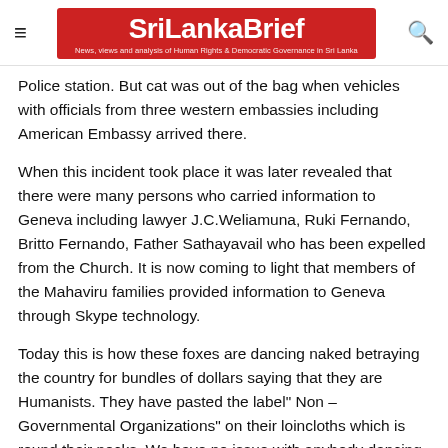SriLankaBrief — News, views and analysis of Human Rights & Democratic Governance in Sri Lanka
Police station. But cat was out of the bag when vehicles with officials from three western embassies including American Embassy arrived there.
When this incident took place it was later revealed that there were many persons who carried information to Geneva including lawyer J.C.Weliamuna, Ruki Fernando, Britto Fernando, Father Sathayavail who has been expelled from the Church. It is now coming to light that members of the Mahaviru families provided information to Geneva through Skype technology.
Today this is how these foxes are dancing naked betraying the country for bundles of dollars saying that they are Humanists. They have pasted the label" Non –Governmental Organizations" on their loincloths which is round their necks. We have no issue with anybody dancing naked. The problem